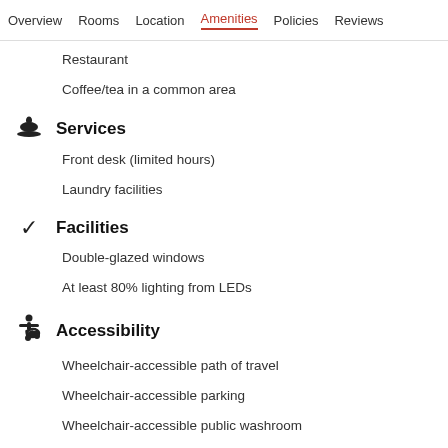Overview  Rooms  Location  Amenities  Policies  Reviews
Restaurant
Coffee/tea in a common area
Services
Front desk (limited hours)
Laundry facilities
Facilities
Double-glazed windows
At least 80% lighting from LEDs
Accessibility
Wheelchair-accessible path of travel
Wheelchair-accessible parking
Wheelchair-accessible public washroom
Wheelchair-accessible registration desk
Upper floors accessible by stairs only